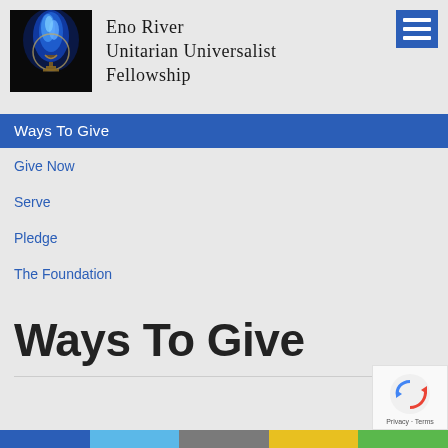[Figure (logo): Eno River Unitarian Universalist Fellowship logo: flaming chalice symbol in blue light on dark background]
Eno River Unitarian Universalist Fellowship
[Figure (other): Hamburger menu button (three white bars on blue background)]
Ways To Give
Give Now
Serve
Pledge
The Foundation
Ways To Give
[Figure (other): Google reCAPTCHA badge with spinning arrows logo and Privacy - Terms text]